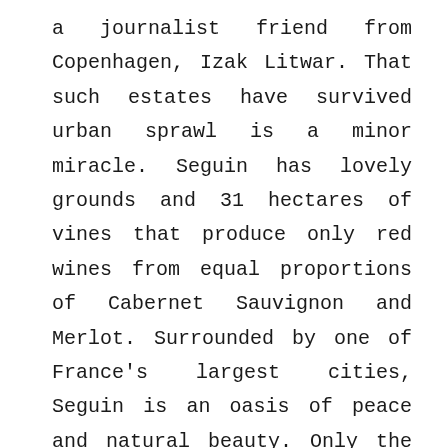a journalist friend from Copenhagen, Izak Litwar. That such estates have survived urban sprawl is a minor miracle. Seguin has lovely grounds and 31 hectares of vines that produce only red wines from equal proportions of Cabernet Sauvignon and Merlot. Surrounded by one of France's largest cities, Seguin is an oasis of peace and natural beauty. Only the faint noise of a nearby highway reminds you that "civilization" is nearby… Château Seguin is managed by Denis Darriet, an intense man whose previous